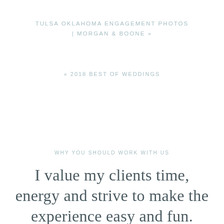TULSA OKLAHOMA ENGAGEMENT PHOTOS | MORGAN & BOONE »
« 2018 BEST OF WEDDINGS
WHY YOU SHOULD WORK WITH US
I value my clients time, energy and strive to make the experience easy and fun.